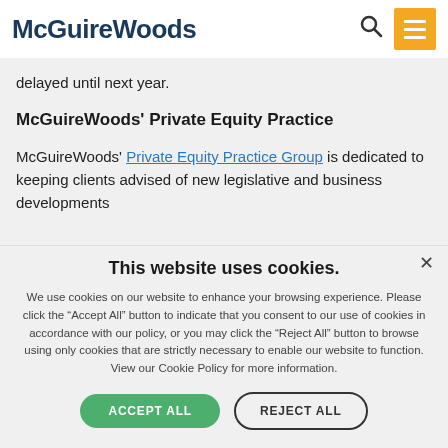McGuireWoods
delayed until next year.
McGuireWoods' Private Equity Practice
McGuireWoods' Private Equity Practice Group is dedicated to keeping clients advised of new legislative and business developments
This website uses cookies.
We use cookies on our website to enhance your browsing experience. Please click the “Accept All” button to indicate that you consent to our use of cookies in accordance with our policy, or you may click the “Reject All” button to browse using only cookies that are strictly necessary to enable our website to function. View our Cookie Policy for more information.
ACCEPT ALL | REJECT ALL